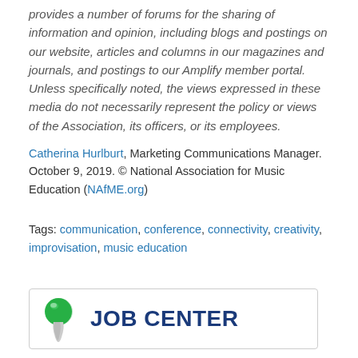provides a number of forums for the sharing of information and opinion, including blogs and postings on our website, articles and columns in our magazines and journals, and postings to our Amplify member portal. Unless specifically noted, the views expressed in these media do not necessarily represent the policy or views of the Association, its officers, or its employees.
Catherina Hurlburt, Marketing Communications Manager. October 9, 2019. © National Association for Music Education (NAfME.org)
Tags: communication, conference, connectivity, creativity, improvisation, music education
[Figure (other): Job Center banner with green pushpin icon and bold dark blue JOB CENTER text on white background with border]
[Figure (photo): Partial image showing red background with dark silhouette, appears to be a concert or performance photo]